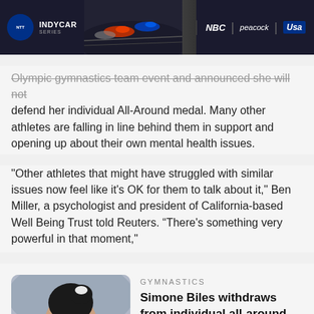[Figure (other): NTT IndyCar Series advertisement banner with NBC, Peacock, and USA Network logos]
Olympic gymnastics team event and announced she will not defend her individual All-Around medal. Many other athletes are falling in line behind them in support and opening up about their own mental health issues.
"Other athletes that might have struggled with similar issues now feel like it's OK for them to talk about it," Ben Miller, a psychologist and president of California-based Well Being Trust told Reuters. “There's something very powerful in that moment,"
[Figure (photo): Photo of Simone Biles looking downward, wearing a white hair accessory]
Gymnastics
Simone Biles withdraws from individual all-around final at Tokyo Olympics
More athletes coming forward